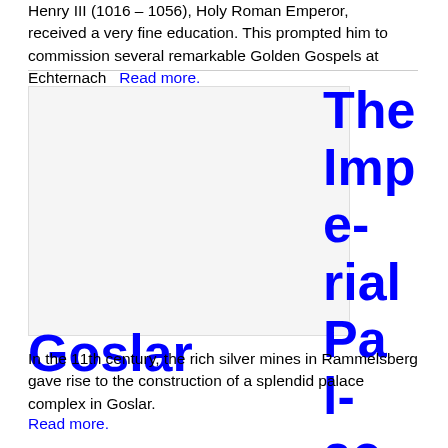Henry III (1016 – 1056), Holy Roman Emperor, received a very fine education. This prompted him to commission several remarkable Golden Gospels at Echternach  Read more.
The Imperial Palace in Goslar
[Figure (photo): Image placeholder for The Imperial Palace in Goslar]
In the 11th century, the rich silver mines in Rammelsberg gave rise to the construction of a splendid palace complex in Goslar.
Read more.